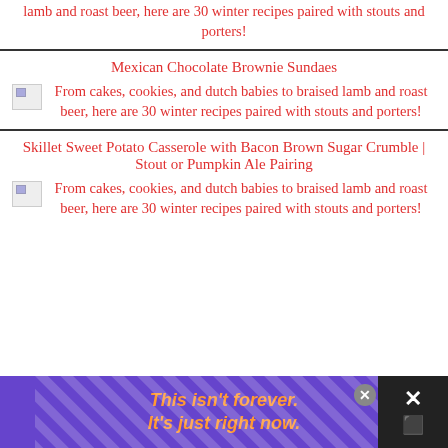lamb and roast beer, here are 30 winter recipes paired with stouts and porters!
Mexican Chocolate Brownie Sundaes
From cakes, cookies, and dutch babies to braised lamb and roast beer, here are 30 winter recipes paired with stouts and porters!
Skillet Sweet Potato Casserole with Bacon Brown Sugar Crumble | Stout or Pumpkin Ale Pairing
From cakes, cookies, and dutch babies to braised lamb and roast beer, here are 30 winter recipes paired with stouts and porters!
[Figure (infographic): Purple advertisement banner at bottom: 'This isn't forever. It's just right now.' in orange italic bold text, with close button and dark right panel with X icon]